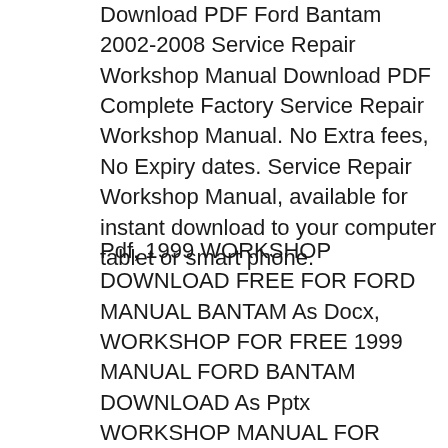Download PDF Ford Bantam 2002-2008 Service Repair Workshop Manual Download PDF Complete Factory Service Repair Workshop Manual. No Extra fees, No Expiry dates. Service Repair Workshop Manual, available for instant download to your computer tablet or smart phone.
Pdf, 1999 WORKSHOP DOWNLOAD FREE FOR FORD MANUAL BANTAM As Docx, WORKSHOP FOR FREE 1999 MANUAL FORD BANTAM DOWNLOAD As Pptx WORKSHOP MANUAL FOR FORD BANTAM 1999 FREE DOWNLOAD How easy reading concept can improve to be an effective person? WORKSHOP MANUAL FOR FORD BANTAM 1999 FREE